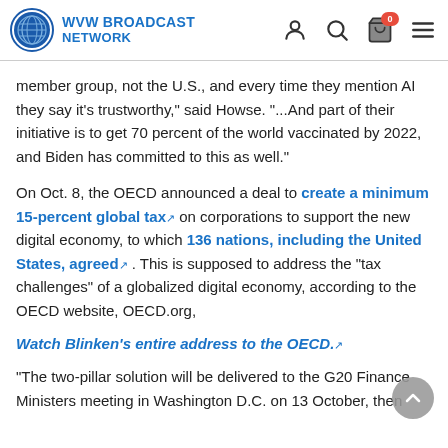WVW BROADCAST NETWORK
member group, not the U.S., and every time they mention AI they say it's trustworthy," said Howse. "...And part of their initiative is to get 70 percent of the world vaccinated by 2022, and Biden has committed to this as well."
On Oct. 8, the OECD announced a deal to create a minimum 15-percent global tax on corporations to support the new digital economy, to which 136 nations, including the United States, agreed. This is supposed to address the "tax challenges" of a globalized digital economy, according to the OECD website, OECD.org,
Watch Blinken's entire address to the OECD.
"The two-pillar solution will be delivered to the G20 Finance Ministers meeting in Washington D.C. on 13 October, then